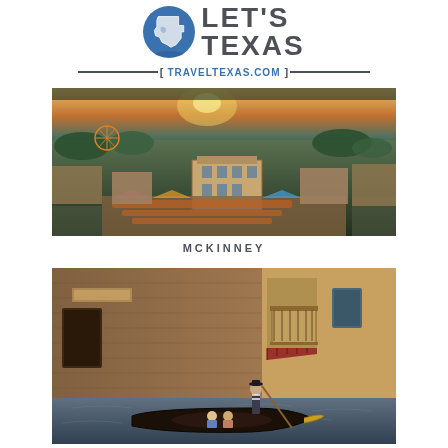[Figure (logo): Let's Texas logo with Texas state outline icon in blue circle and bold text LET'S TEXAS]
TRAVELTEXAS.COM
[Figure (photo): Aerial view of McKinney town square during an outdoor festival/event at dusk, with crowds, colorful tents, a Ferris wheel visible in the background, and historic brick buildings]
MCKINNEY
[Figure (photo): Gondola boat with people on a canal/waterway surrounded by brick walls and Mediterranean-style buildings]